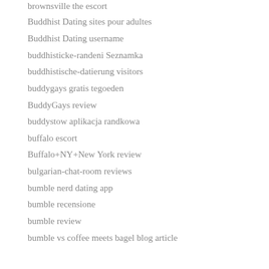brownsville the escort
Buddhist Dating sites pour adultes
Buddhist Dating username
buddhisticke-randeni Seznamka
buddhistische-datierung visitors
buddygays gratis tegoeden
BuddyGays review
buddystow aplikacja randkowa
buffalo escort
Buffalo+NY+New York review
bulgarian-chat-room reviews
bumble nerd dating app
bumble recensione
bumble review
bumble vs coffee meets bagel blog article